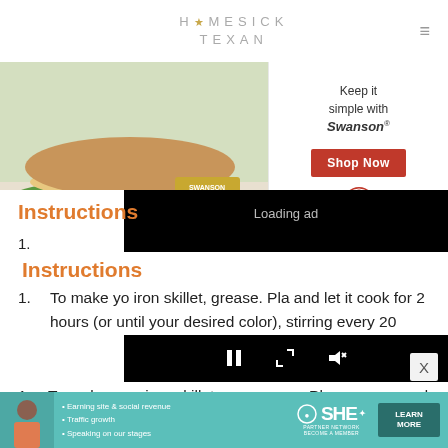HOMESICK TEXAN
[Figure (photo): Swanson canned chicken breast advertisement with sandwich image and Shop Now button]
[Figure (screenshot): Video player overlay showing Loading ad with spinner and playback controls]
Instructions
To make yo... iron skillet, ... grease. Pla... and let it cook for 2 hours (or until your desired color), stirring every 20
[Figure (infographic): SHE Partner Network banner ad with Learn More button]